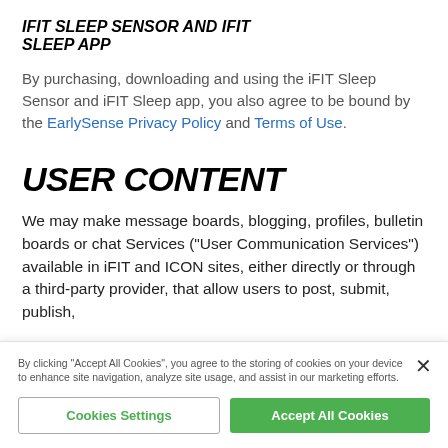IFIT SLEEP SENSOR AND IFIT SLEEP APP
By purchasing, downloading and using the iFIT Sleep Sensor and iFIT Sleep app, you also agree to be bound by the EarlySense Privacy Policy and Terms of Use.
USER CONTENT
We may make message boards, blogging, profiles, bulletin boards or chat Services (“User Communication Services”) available in iFIT and ICON sites, either directly or through a third-party provider, that allow users to post, submit, publish,
By clicking “Accept All Cookies”, you agree to the storing of cookies on your device to enhance site navigation, analyze site usage, and assist in our marketing efforts.
Cookies Settings
Accept All Cookies